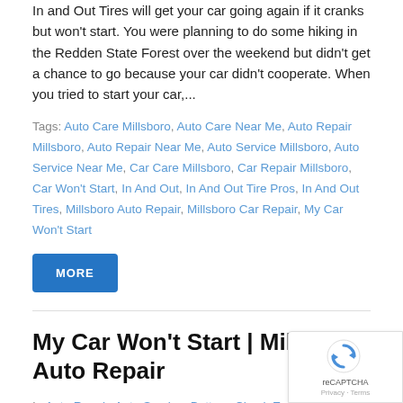In and Out Tires will get your car going again if it cranks but won't start. You were planning to do some hiking in the Redden State Forest over the weekend but didn't get a chance to go because your car didn't cooperate. When you tried to start your car,...
Tags: Auto Care Millsboro, Auto Care Near Me, Auto Repair Millsboro, Auto Repair Near Me, Auto Service Millsboro, Auto Service Near Me, Car Care Millsboro, Car Repair Millsboro, Car Won't Start, In And Out, In And Out Tire Pros, In And Out Tires, Millsboro Auto Repair, Millsboro Car Repair, My Car Won't Start
MORE
My Car Won't Start | Millsboro Auto Repair
In Auto Repair, Auto Service, Battery, Check Engine, Electrica… Engine